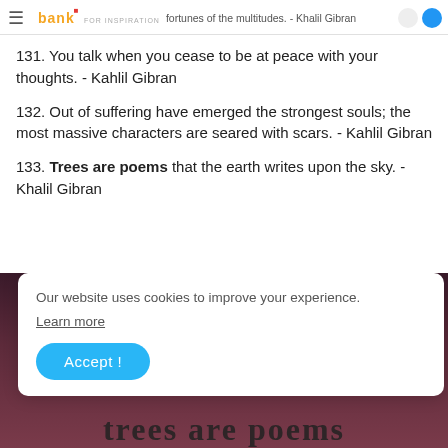fortunes of the multitudes. - Khalil Gibran
131. You talk when you cease to be at peace with your thoughts. - Kahlil Gibran
132. Out of suffering have emerged the strongest souls; the most massive characters are seared with scars. - Kahlil Gibran
133. Trees are poems that the earth writes upon the sky. - Khalil Gibran
[Figure (photo): Dark reddish-brown background image with white cookie consent banner overlay and text 'trees are poems' visible at the bottom]
Our website uses cookies to improve your experience. Learn more
Accept !